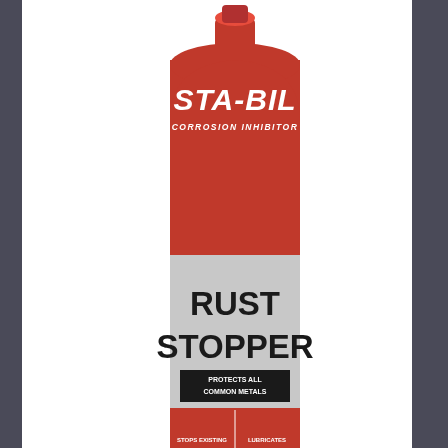[Figure (photo): Red aerosol spray can of STA-BIL Corrosion Inhibitor Rust Stopper 13oz. The can is predominantly red and grey, with 'STA-BIL' in large white italic letters on the red top portion, 'CORROSION INHIBITOR' below it, then 'RUST STOPPER' in large bold black text on a silver/grey label area. Features include 'PROTECTS ALL COMMON METALS', 'STOPS EXISTING RUST & CORROSION FROM SPREADING', 'LUBRICATES AND PENETRATES'. Watermark text 'CWASH SPARES ONLINE' in red italic appears overlaid on lower right of image.]
STABIL STA-BIL RUST STOPPER 13OZ
£7.95